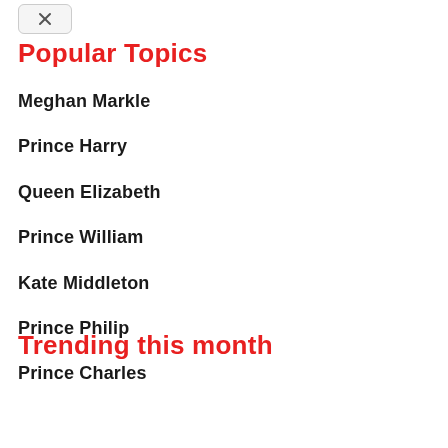Popular Topics
Meghan Markle
Prince Harry
Queen Elizabeth
Prince William
Kate Middleton
Prince Philip
Prince Charles
Trending this month